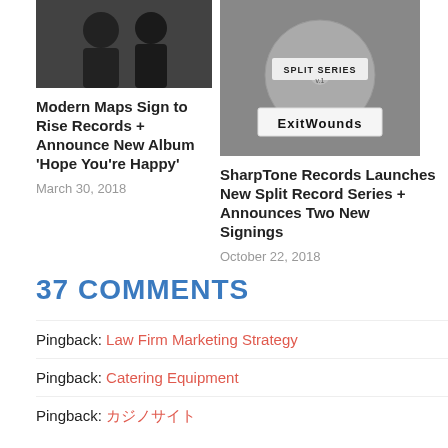[Figure (photo): Black and white photo of band members in dark clothing]
Modern Maps Sign to Rise Records + Announce New Album ‘Hope You’re Happy’
March 30, 2018
[Figure (photo): Black and white photo of a CD with handwritten label reading ExitWounds and Split Series v.1]
SharpTone Records Launches New Split Record Series + Announces Two New Signings
October 22, 2018
37 COMMENTS
Pingback: Law Firm Marketing Strategy
Pingback: Catering Equipment
Pingback: カジノサイト